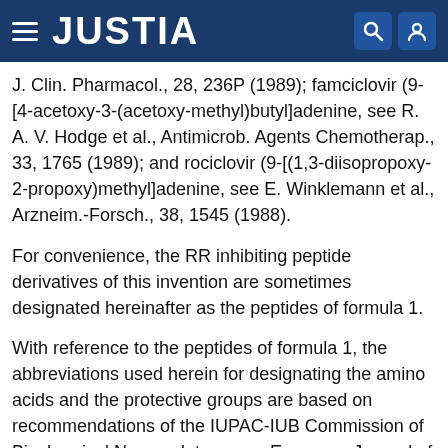JUSTIA
J. Clin. Pharmacol., 28, 236P (1989); famciclovir (9-[4-acetoxy-3-(acetoxy-methyl)butyl]adenine, see R. A. V. Hodge et al., Antimicrob. Agents Chemotherap., 33, 1765 (1989); and rociclovir (9-[(1,3-diisopropoxy-2-propoxy)methyl]adenine, see E. Winklemann et al., Arzneim.-Forsch., 38, 1545 (1988).
For convenience, the RR inhibiting peptide derivatives of this invention are sometimes designated hereinafter as the peptides of formula 1.
With reference to the peptides of formula 1, the abbreviations used herein for designating the amino acids and the protective groups are based on recommendations of the IUPAC-IUB Commission of Biochemical Nomenclature, see European Journal of Biochemistry, 138, 9 (1984). For instance, Val, Ala, Ile, Asp